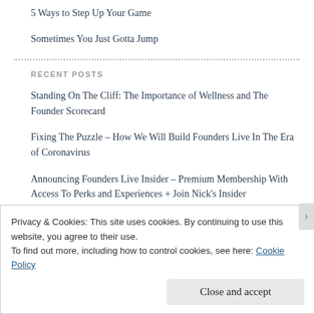5 Ways to Step Up Your Game
Sometimes You Just Gotta Jump
RECENT POSTS
Standing On The Cliff: The Importance of Wellness and The Founder Scorecard
Fixing The Puzzle – How We Will Build Founders Live In The Era of Coronavirus
Announcing Founders Live Insider – Premium Membership With Access To Perks and Experiences + Join Nick's Insider
Privacy & Cookies: This site uses cookies. By continuing to use this website, you agree to their use.
To find out more, including how to control cookies, see here: Cookie Policy
Close and accept